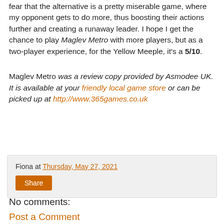fear that the alternative is a pretty miserable game, where my opponent gets to do more, thus boosting their actions further and creating a runaway leader. I hope I get the chance to play Maglev Metro with more players, but as a two-player experience, for the Yellow Meeple, it's a 5/10.
Maglev Metro was a review copy provided by Asmodee UK. It is available at your friendly local game store or can be picked up at http://www.365games.co.uk
Fiona at Thursday, May 27, 2021
Share
No comments:
Post a Comment